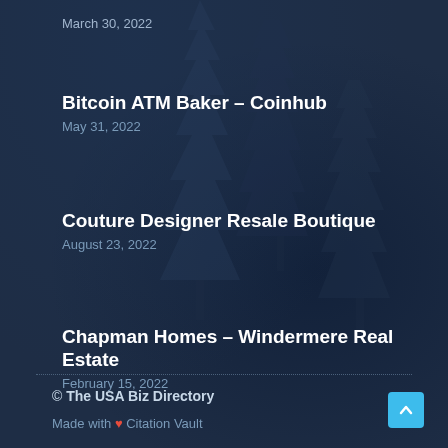March 30, 2022
Bitcoin ATM Baker – Coinhub
May 31, 2022
Couture Designer Resale Boutique
August 23, 2022
Chapman Homes – Windermere Real Estate
February 15, 2022
© The USA Biz Directory
Made with ❤ Citation Vault